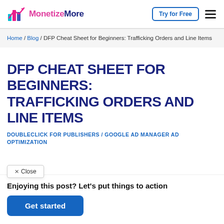MonetizeMore | Try for Free
Home / Blog / DFP Cheat Sheet for Beginners: Trafficking Orders and Line Items
DFP CHEAT SHEET FOR BEGINNERS: TRAFFICKING ORDERS AND LINE ITEMS
DOUBLECLICK FOR PUBLISHERS / GOOGLE AD MANAGER AD OPTIMIZATION
× Close
Enjoying this post? Let's put things to action
Get started